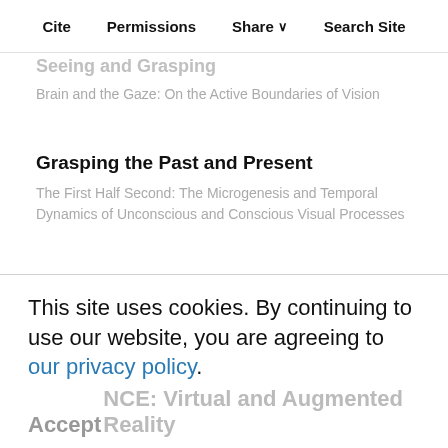Cite   Permissions   Share ∨   Search Site
Seeing and Grasping
Brain and the Gaze: On the Active Boundaries of Vision
Grasping the Past and Present
The First Half Second: The Microgenesis and Temporal Dynamics of Unconscious and Conscious Visual Processes
From Caging to Grasping
Robotics: Science and Systems VII
Robotic Grasping of Novel Objects
Advances in Neural Information Processing Systems 19: Proceedings of the 2006 Conference
This site uses cookies. By continuing to use our website, you are agreeing to our privacy policy. Accept
NECE: Virtual and Augmented Reality